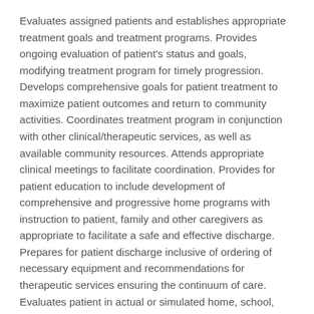Evaluates assigned patients and establishes appropriate treatment goals and treatment programs. Provides ongoing evaluation of patient's status and goals, modifying treatment program for timely progression. Develops comprehensive goals for patient treatment to maximize patient outcomes and return to community activities. Coordinates treatment program in conjunction with other clinical/therapeutic services, as well as available community resources. Attends appropriate clinical meetings to facilitate coordination. Provides for patient education to include development of comprehensive and progressive home programs with instruction to patient, family and other caregivers as appropriate to facilitate a safe and effective discharge. Prepares for patient discharge inclusive of ordering of necessary equipment and recommendations for therapeutic services ensuring the continuum of care. Evaluates patient in actual or simulated home, school, work or community environments as necessary to facilitate return to community activities, making recommendations for necessary adaptations or training.